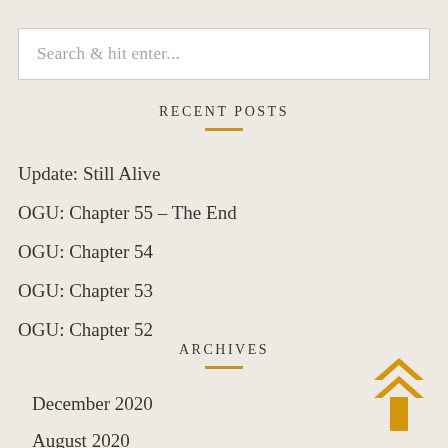Search & hit enter...
RECENT POSTS
Update: Still Alive
OGU: Chapter 55 – The End
OGU: Chapter 54
OGU: Chapter 53
OGU: Chapter 52
ARCHIVES
December 2020
August 2020